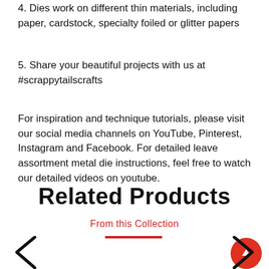4. Dies work on different thin materials, including paper, cardstock, specialty foiled or glitter papers
5. Share your beautiful projects with us at #scrappytailscrafts
For inspiration and technique tutorials, please visit our social media channels on YouTube, Pinterest, Instagram and Facebook. For detailed leave assortment metal die instructions, feel free to watch our detailed videos on youtube.
Related Products
From this Collection